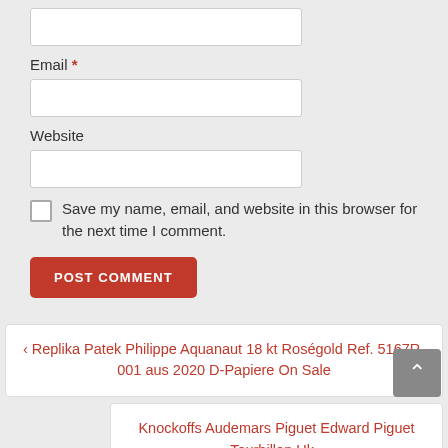Email *
Website
Save my name, email, and website in this browser for the next time I comment.
POST COMMENT
‹ Replika Patek Philippe Aquanaut 18 kt Roségold Ref. 5167R-001 aus 2020 D-Papiere On Sale
Knockoffs Audemars Piguet Edward Piguet Tourbillon Uk ›